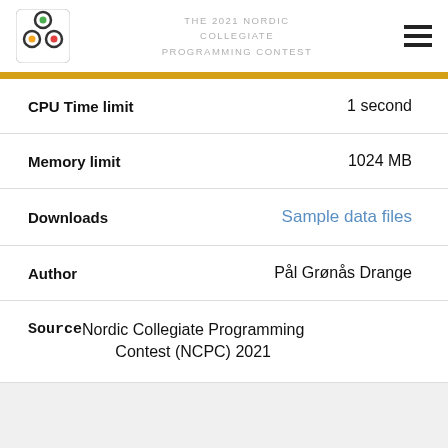THE 2021 NORDIC COLLEGIATE PROGRAMMING CONTEST
| Field | Value |
| --- | --- |
| CPU Time limit | 1 second |
| Memory limit | 1024 MB |
| Downloads | Sample data files |
| Author | Pål Grønås Drange |
| Source | Nordic Collegiate Programming Contest (NCPC) 2021 |